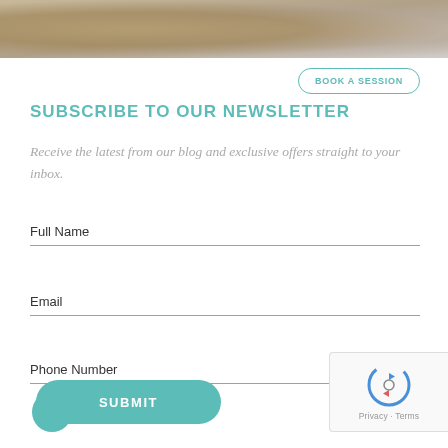[Figure (photo): Photo banner showing a textured beige/tan fabric or carpet material]
BOOK A SESSION
SUBSCRIBE TO OUR NEWSLETTER
Receive the latest from our blog and exclusive offers straight to your inbox.
Full Name
Email
Phone Number
SUBMIT
[Figure (logo): reCAPTCHA widget with robot/refresh icon and Privacy - Terms text]